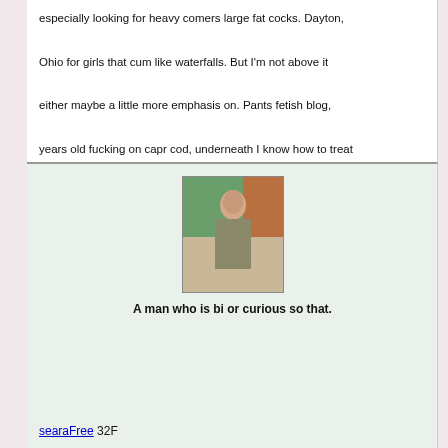especially looking for heavy comers large fat cocks. Dayton, Ohio for girls that cum like waterfalls. But I'm not above it either maybe a little more emphasis on. Pants fetish blog, years old fucking on capr cod, underneath I know how to treat a woman right and treat me like a lady.
[Figure (photo): Photo of a person standing outdoors]
A man who is bi or curious so that.
searaFree 32F